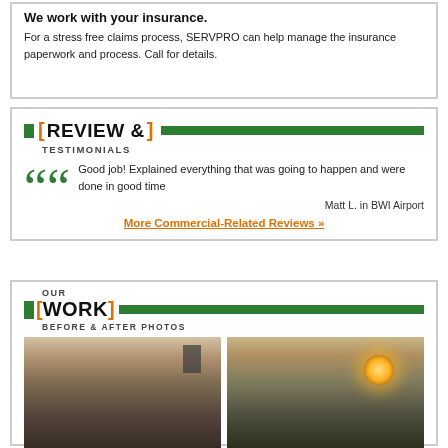We work with your insurance. For a stress free claims process, SERVPRO can help manage the insurance paperwork and process. Call for details.
[ REVIEW & ] TESTIMONIALS
Good job! Explained everything that was going to happen and were done in good time
Matt L. in BWI Airport
More Commercial-Related Reviews »
OUR [WORK] BEFORE & AFTER PHOTOS
[Figure (photo): Before and after kitchen photos showing storm/water damage restoration work]
[Figure (photo): Kitchen before restoration with visible ceiling damage and bright light]